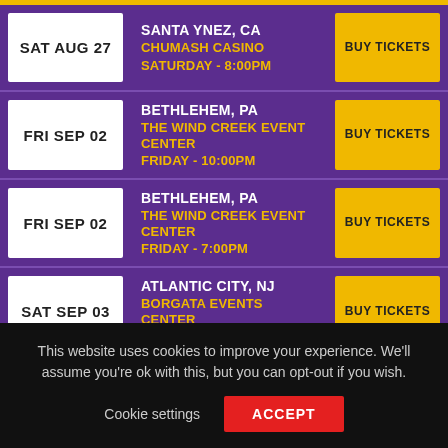SAT AUG 27 | SANTA YNEZ, CA | CHUMASH CASINO | SATURDAY - 8:00PM | BUY TICKETS
FRI SEP 02 | BETHLEHEM, PA | THE WIND CREEK EVENT CENTER | FRIDAY - 10:00PM | BUY TICKETS
FRI SEP 02 | BETHLEHEM, PA | THE WIND CREEK EVENT CENTER | FRIDAY - 7:00PM | BUY TICKETS
SAT SEP 03 | ATLANTIC CITY, NJ | BORGATA EVENTS CENTER | SATURDAY - 5:00PM | BUY TICKETS
SAT SEP 03 | ATLANTIC CITY, NJ | BORGATA EVENTS CENTER | SATURDAY - 8:30PM | BUY TICKETS
This website uses cookies to improve your experience. We'll assume you're ok with this, but you can opt-out if you wish.
Cookie settings   ACCEPT